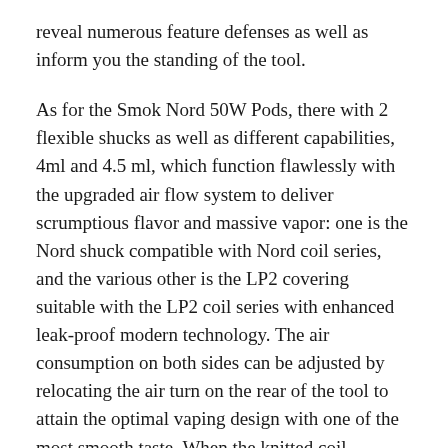reveal numerous feature defenses as well as inform you the standing of the tool.
As for the Smok Nord 50W Pods, there with 2 flexible shucks as well as different capabilities, 4ml and 4.5 ml, which function flawlessly with the upgraded air flow system to deliver scrumptious flavor and massive vapor: one is the Nord shuck compatible with Nord coil series, and the various other is the LP2 covering suitable with the LP2 coil series with enhanced leak-proof modern technology. The air consumption on both sides can be adjusted by relocating the air turn on the rear of the tool to attain the optimal vaping design with one of the most smooth taste. When the knitted coil contacts the saturated cotton, a fascinating preference with smooth flavor and abundant vapor arise automatically. When the coil is inserted into the husk, the specifically developed base part of the